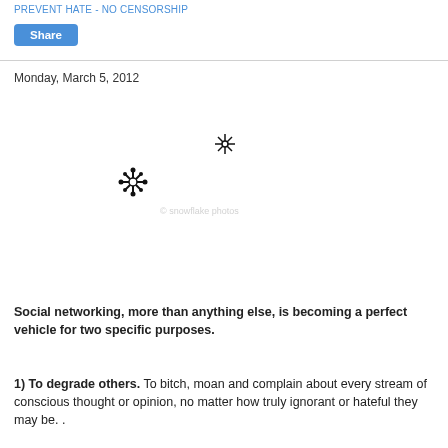PREVENT HATE - NO CENSORSHIP
Share
Monday, March 5, 2012
[Figure (illustration): A heart shape formed by snowflake/flower patterns arranged in the outline of a heart, black and white illustration with a watermark text in the center]
Social networking, more than anything else, is becoming a perfect vehicle for two specific purposes.
1) To degrade others. To bitch, moan and complain about every stream of conscious thought or opinion, no matter how truly ignorant or hateful they may be. .